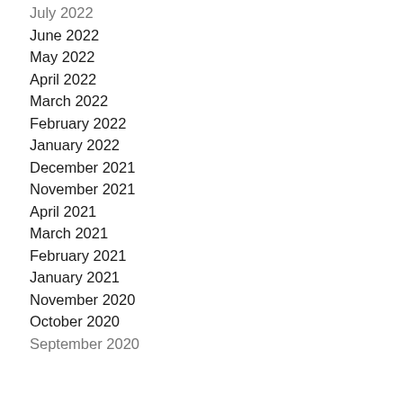July 2022
June 2022
May 2022
April 2022
March 2022
February 2022
January 2022
December 2021
November 2021
April 2021
March 2021
February 2021
January 2021
November 2020
October 2020
September 2020